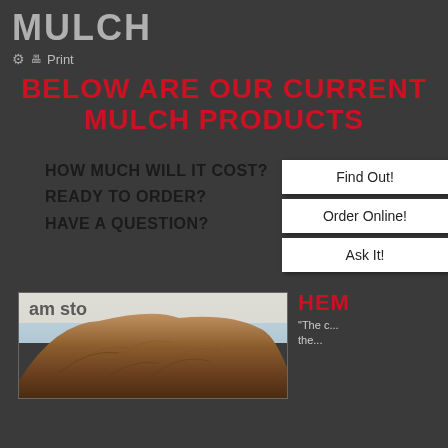MULCH
Print
BELOW ARE OUR CURRENT MULCH PRODUCTS
HOW MUCH WILL IT COST?
READY TO ORDER?
HAVE A QUESTION?
Find Out!
Order Online!
Ask It!
[Figure (photo): A large pile of brown mulch outdoors with a banner/sign visible behind it]
HEM
"The c... the...